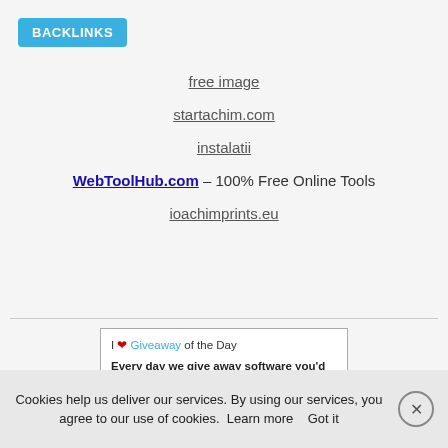BACKLINKS
free image
startachim.com
instalatii
WebToolHub.com – 100% Free Online Tools
ioachimprints.eu
[Figure (screenshot): Advertisement box: I ❤ Giveaway of the Day. Every day we give away software you'd have to buy otherwise. Today it's Joyoshare iPhone Data Recovery 2.4.0. Joyoshare iPhone Data Recovery pentru Windows este un instrument profesional pentru a găsi orice a[i... Usually priced at $49.95, FREE today. Remaining time: 16h 49m]
Cookies help us deliver our services. By using our services, you agree to our use of cookies. Learn more  Got it